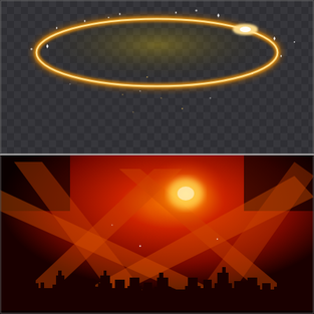[Figure (illustration): Glowing golden elliptical ring with sparkles and light particles on a dark transparent checkered background]
[Figure (illustration): City skyline silhouette at night with dramatic red and orange searchlight beams crossing in an X pattern against a fiery sky, with a bright orange glowing center]